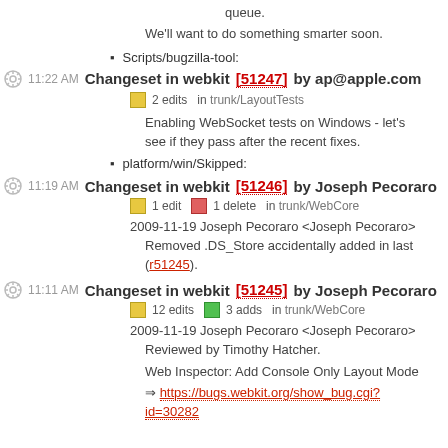queue.
We'll want to do something smarter soon.
Scripts/bugzilla-tool:
11:22 AM Changeset in webkit [51247] by ap@apple.com
2 edits  in trunk/LayoutTests
Enabling WebSocket tests on Windows - let's see if they pass after the recent fixes.
platform/win/Skipped:
11:19 AM Changeset in webkit [51246] by Joseph Pecoraro
1 edit  1 delete  in trunk/WebCore
2009-11-19 Joseph Pecoraro <Joseph Pecoraro>
Removed .DS_Store accidentally added in last (r51245).
11:11 AM Changeset in webkit [51245] by Joseph Pecoraro
12 edits  3 adds  in trunk/WebCore
2009-11-19 Joseph Pecoraro <Joseph Pecoraro>
Reviewed by Timothy Hatcher.
Web Inspector: Add Console Only Layout Mode
https://bugs.webkit.org/show_bug.cgi?id=30282